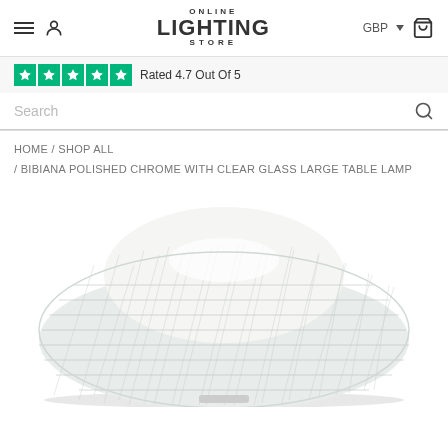Online Lighting Store — GBP
Rated 4.7 Out Of 5
Search
HOME / SHOP ALL
/ BIBIANA POLISHED CHROME WITH CLEAR GLASS LARGE TABLE LAMP
[Figure (photo): Large clear glass table lamp with diamond-cut faceted dome shade, polished chrome finish, photographed from above at an angle against a white background.]